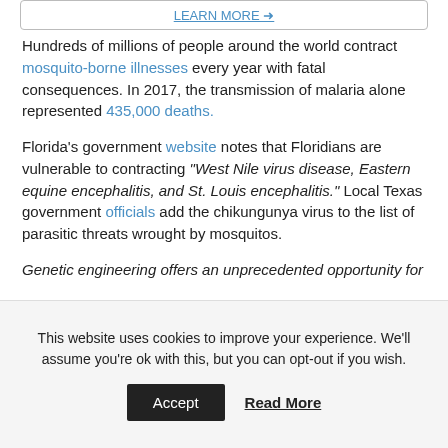[Figure (other): Top bordered box with a learn more link]
Hundreds of millions of people around the world contract mosquito-borne illnesses every year with fatal consequences. In 2017, the transmission of malaria alone represented 435,000 deaths.
Florida's government website notes that Floridians are vulnerable to contracting “West Nile virus disease, Eastern equine encephalitis, and St. Louis encephalitis.” Local Texas government officials add the chikungunya virus to the list of parasitic threats wrought by mosquitos.
Genetic engineering offers an unprecedented opportunity for
This website uses cookies to improve your experience. We'll assume you're ok with this, but you can opt-out if you wish.
Accept   Read More